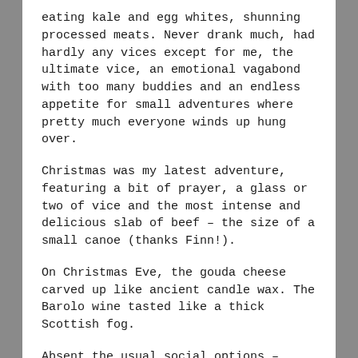eating kale and egg whites, shunning processed meats. Never drank much, had hardly any vices except for me, the ultimate vice, an emotional vagabond with too many buddies and an endless appetite for small adventures where pretty much everyone winds up hung over.
Christmas was my latest adventure, featuring a bit of prayer, a glass or two of vice and the most intense and delicious slab of beef – the size of a small canoe (thanks Finn!).
On Christmas Eve, the gouda cheese carved up like ancient candle wax. The Barolo wine tasted like a thick Scottish fog.
Absent the usual social options – parties, caroling, church – we did Christmas Eve services remotely, then spent the next day in a house the color of egg nog, accompanied by a trans-Siberian husky that might be a